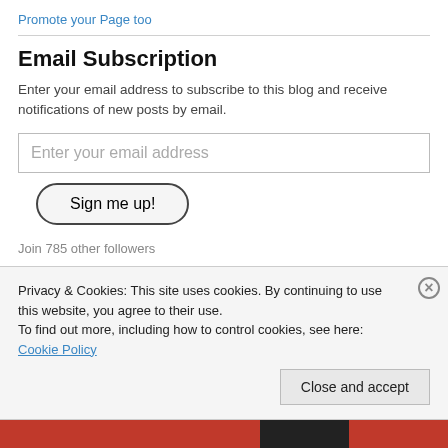Promote your Page too
Email Subscription
Enter your email address to subscribe to this blog and receive notifications of new posts by email.
Enter your email address
Sign me up!
Join 785 other followers
Privacy & Cookies: This site uses cookies. By continuing to use this website, you agree to their use.
To find out more, including how to control cookies, see here: Cookie Policy
Close and accept